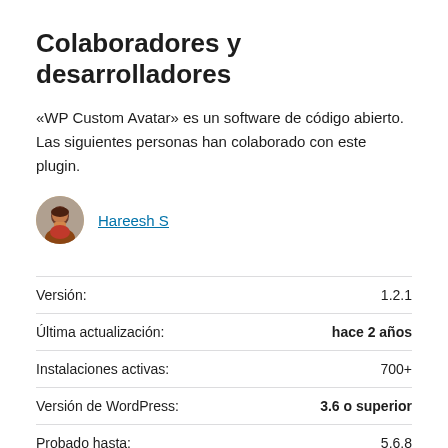Colaboradores y desarrolladores
«WP Custom Avatar» es un software de código abierto. Las siguientes personas han colaborado con este plugin.
Hareesh S
|  |  |
| --- | --- |
| Versión: | 1.2.1 |
| Última actualización: | hace 2 años |
| Instalaciones activas: | 700+ |
| Versión de WordPress: | 3.6 o superior |
| Probado hasta: | 5.6.8 |
| Versión de PHP: | 5.2 o superior |